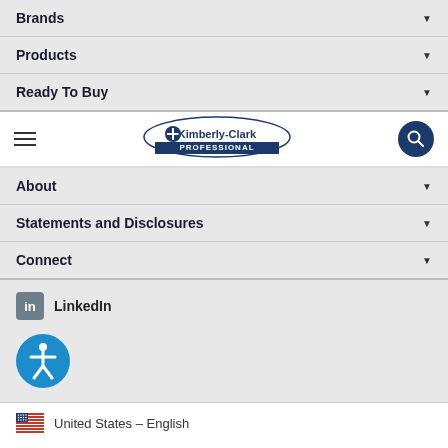Brands
Products
Ready To Buy
[Figure (logo): Kimberly-Clark Professional logo with hamburger menu and search button]
About
Statements and Disclosures
Connect
[Figure (logo): LinkedIn social media icon with text LinkedIn]
[Figure (illustration): Accessibility icon - person in circle]
United States - English